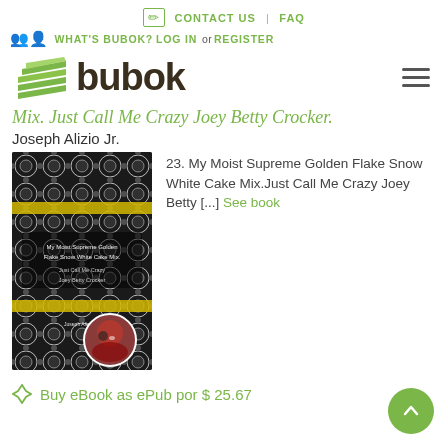CONTACT US | FAQ
WHAT'S BUBOK? LOG IN or REGISTER
[Figure (logo): Bubok logo with stacked green book pages icon and bold dark 'bubok' text]
Mix. Just Call Me Crazy Joey Betty Crocker.
Joseph Alizio Jr.
[Figure (photo): Book cover of 'My Moist Supreme Golden Flake Snow White Cake Mix' with black and white ornate pattern and a circular author photo at bottom]
23. My Moist Supreme Golden Flake Snow White Cake Mix.Just Call Me Crazy Joey Betty [...] See book
Buy eBook as ePub por $ 25.67